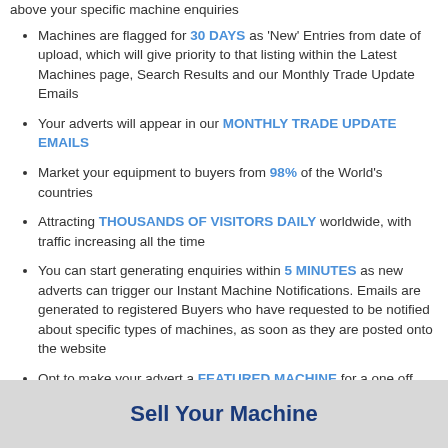above your specific machine enquiries
Machines are flagged for 30 DAYS as 'New' Entries from date of upload, which will give priority to that listing within the Latest Machines page, Search Results and our Monthly Trade Update Emails
Your adverts will appear in our MONTHLY TRADE UPDATE EMAILS
Market your equipment to buyers from 98% of the World's countries
Attracting THOUSANDS OF VISITORS DAILY worldwide, with traffic increasing all the time
You can start generating enquiries within 5 MINUTES as new adverts can trigger our Instant Machine Notifications. Emails are generated to registered Buyers who have requested to be notified about specific types of machines, as soon as they are posted onto the website
Opt to make your advert a FEATURED MACHINE for a one off fee. Your listing will take priority on the Latest Machines pages and within Search Results. It will appear on our Home page and at the top of the next available industry related Trade Update email. Links to your advert will also appear on our Facebook, Twitter and LinkedIn profiles; providing you with maximum exposure!
Sell Your Machine